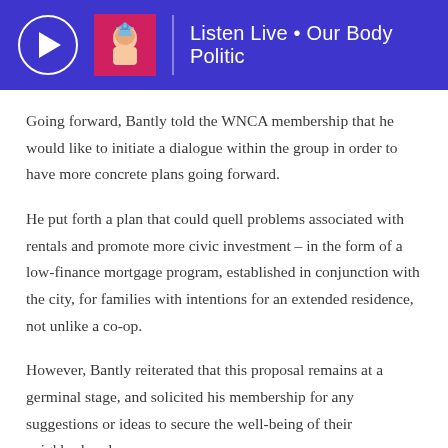Listen Live • Our Body Politic
Going forward, Bantly told the WNCA membership that he would like to initiate a dialogue within the group in order to have more concrete plans going forward.
He put forth a plan that could quell problems associated with rentals and promote more civic investment – in the form of a low-finance mortgage program, established in conjunction with the city, for families with intentions for an extended residence, not unlike a co-op.
However, Bantly reiterated that this proposal remains at a germinal stage, and solicited his membership for any suggestions or ideas to secure the well-being of their neighborhood.